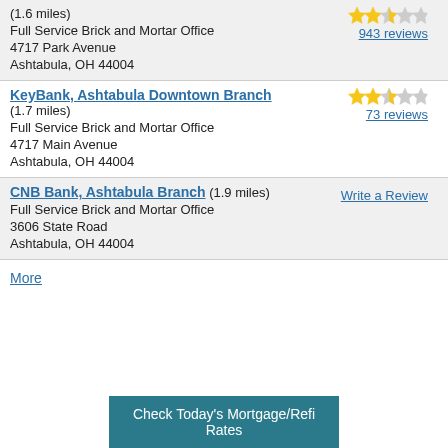(1.6 miles)
Full Service Brick and Mortar Office
4717 Park Avenue
Ashtabula, OH 44004
943 reviews
KeyBank, Ashtabula Downtown Branch (1.7 miles)
Full Service Brick and Mortar Office
4717 Main Avenue
Ashtabula, OH 44004
73 reviews
CNB Bank, Ashtabula Branch (1.9 miles)
Full Service Brick and Mortar Office
3606 State Road
Ashtabula, OH 44004
Write a Review
More
Check Today's Mortgage/Refi Rates